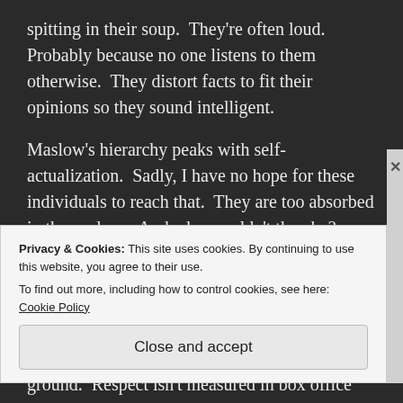spitting in their soup.  They're often loud.  Probably because no one listens to them otherwise.  They distort facts to fit their opinions so they sound intelligent.
Maslow's hierarchy peaks with self-actualization.  Sadly, I have no hope for these individuals to reach that.  They are too absorbed in themselves.  And why wouldn't they be?  They're very important.  But for the rest of you out there, please, check yourself.  No matter what level of success you have, how much money you make, or how much smoke is blowing up your ass: keep your feet on the ground.  Respect isn't measured in box office returns
Privacy & Cookies: This site uses cookies. By continuing to use this website, you agree to their use.
To find out more, including how to control cookies, see here: Cookie Policy
Close and accept